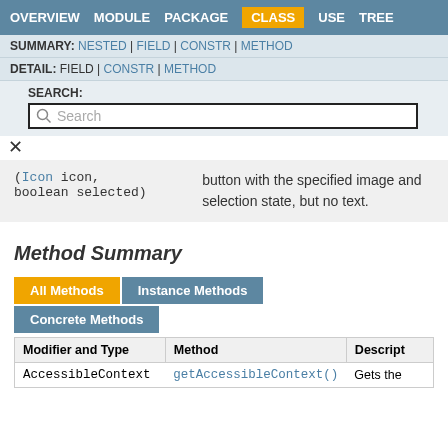OVERVIEW  MODULE  PACKAGE  CLASS  USE  TREE
SUMMARY: NESTED | FIELD | CONSTR | METHOD
DETAIL: FIELD | CONSTR | METHOD
SEARCH:
|  |  |
| --- | --- |
| (Icon icon, boolean selected) | button with the specified image and selection state, but no text. |
Method Summary
All Methods  Instance Methods  Concrete Methods
| Modifier and Type | Method | Descript |
| --- | --- | --- |
| AccessibleContext | getAccessibleContext() | Gets the |